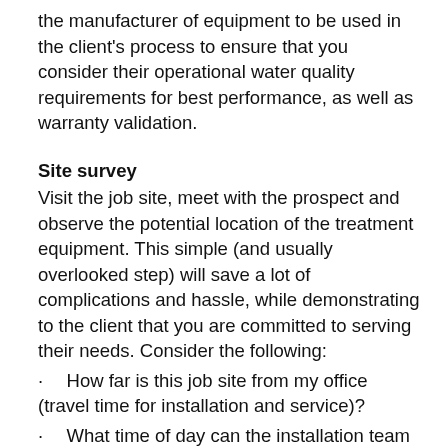the manufacturer of equipment to be used in the client's process to ensure that you consider their operational water quality requirements for best performance, as well as warranty validation.
Site survey
Visit the job site, meet with the prospect and observe the potential location of the treatment equipment. This simple (and usually overlooked step) will save a lot of complications and hassle, while demonstrating to the client that you are committed to serving their needs. Consider the following:
How far is this job site from my office (travel time for installation and service)?
What time of day can the installation team have access to the facility?
What times of day are convenient to the client for